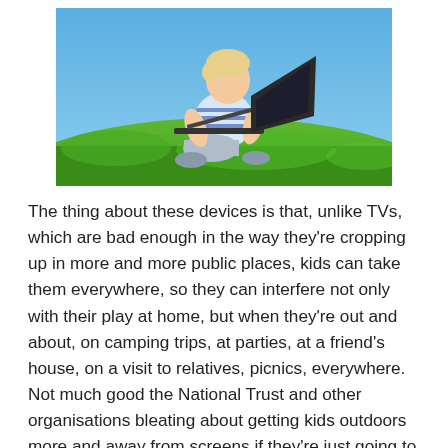[Figure (photo): A young child sitting on green grass outdoors, using a laptop computer, with a clear blue sky in the background.]
The thing about these devices is that, unlike TVs, which are bad enough in the way they're cropping up in more and more public places, kids can take them everywhere, so they can interfere not only with their play at home, but when they're out and about, on camping trips, at parties, at a friend's house, on a visit to relatives, picnics, everywhere. Not much good the National Trust and other organisations bleating about getting kids outdoors more and away from screens if they're just going to take the